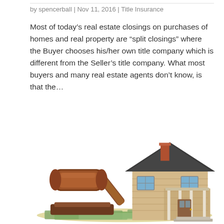by spencerball | Nov 11, 2016 | Title Insurance
Most of today’s real estate closings on purchases of homes and real property are “split closings” where the Buyer chooses his/her own title company which is different from the Seller’s title company. What most buyers and many real estate agents don’t know, is that the…
[Figure (photo): Photo illustration showing a wooden judge's gavel resting beside a miniature model house, with US dollar bills spread underneath both objects, representing real estate legal or title insurance concepts.]